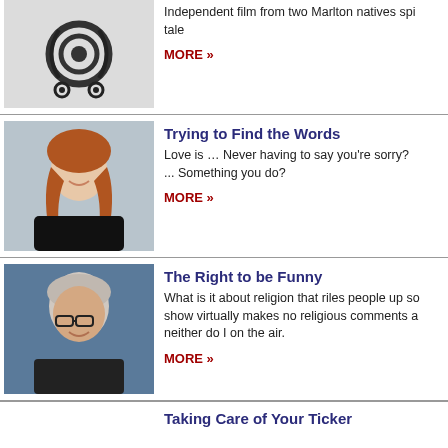[Figure (photo): Film reel or spiral abstract image on light background]
Independent film from two Marlton natives spi... tale
MORE »
[Figure (photo): Portrait of a smiling woman with red/auburn hair wearing black top]
Trying to Find the Words
Love is … Never having to say you're sorry? ... Something you do?
MORE »
[Figure (photo): Portrait of a middle-aged man with grey hair wearing glasses and leather jacket]
The Right to be Funny
What is it about religion that riles people up so... show virtually makes no religious comments a... neither do I on the air.
MORE »
Taking Care of Your Ticker